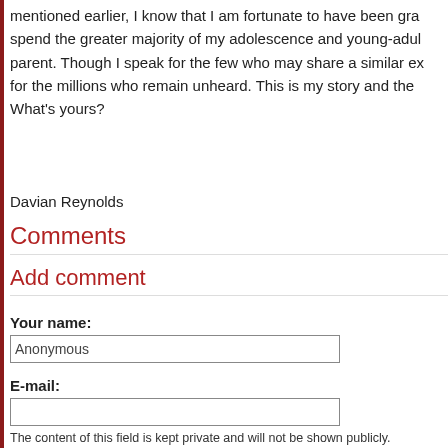mentioned earlier, I know that I am fortunate to have been gr... spend the greater majority of my adolescence and young-adu... parent. Though I speak for the few who may share a similar e... for the millions who remain unheard. This is my story and the... What's yours?
Davian Reynolds
Comments
Add comment
Your name:
Anonymous
E-mail:
The content of this field is kept private and will not be shown publicly.
Homepage:
Comment: